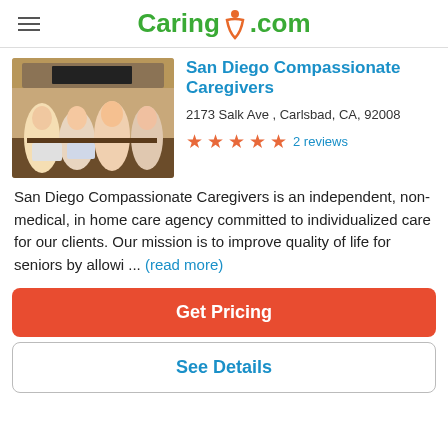Caring.com
[Figure (photo): Group of women seated around a conference table with laptops and papers, a TV on the wall in the background.]
San Diego Compassionate Caregivers
2173 Salk Ave , Carlsbad, CA, 92008
★★★★★ 2 reviews
San Diego Compassionate Caregivers is an independent, non-medical, in home care agency committed to individualized care for our clients. Our mission is to improve quality of life for seniors by allowi ... (read more)
Get Pricing
See Details